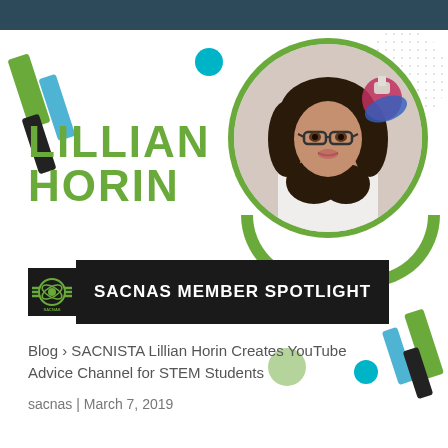[Figure (photo): SACNAS member spotlight graphic featuring Lillian Horin, a young woman with curly hair and glasses examining a flask in a laboratory, with decorative geometric shapes and circles]
LILLIAN HORIN
SACNAS MEMBER SPOTLIGHT
Blog > SACNISTA Lillian Horin Creates YouTube Advice Channel for STEM Students
sacnas | March 7, 2019